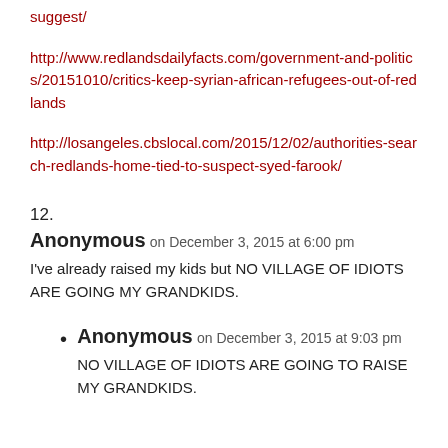suggest/
http://www.redlandsdailyfacts.com/government-and-politics/20151010/critics-keep-syrian-african-refugees-out-of-redlands
http://losangeles.cbslocal.com/2015/12/02/authorities-search-redlands-home-tied-to-suspect-syed-farook/
12.
Anonymous on December 3, 2015 at 6:00 pm
I've already raised my kids but NO VILLAGE OF IDIOTS ARE GOING MY GRANDKIDS.
Anonymous on December 3, 2015 at 9:03 pm
NO VILLAGE OF IDIOTS ARE GOING TO RAISE MY GRANDKIDS.